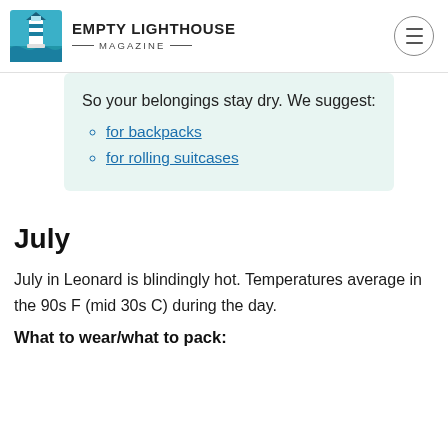EMPTY LIGHTHOUSE MAGAZINE
So your belongings stay dry. We suggest:
for backpacks
for rolling suitcases
July
July in Leonard is blindingly hot. Temperatures average in the 90s F (mid 30s C) during the day.
What to wear/what to pack: